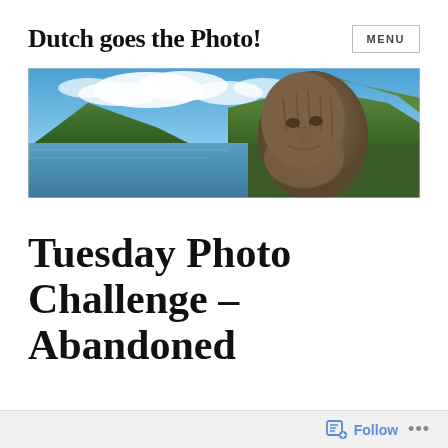Dutch goes the Photo!
[Figure (photo): A scenic landscape photograph showing a large wicker/straw sculpture of a face or figure in the foreground, with a loch/lake, green forested mountains, and a partly cloudy blue sky in the background.]
Tuesday Photo Challenge – Abandoned
Follow ...